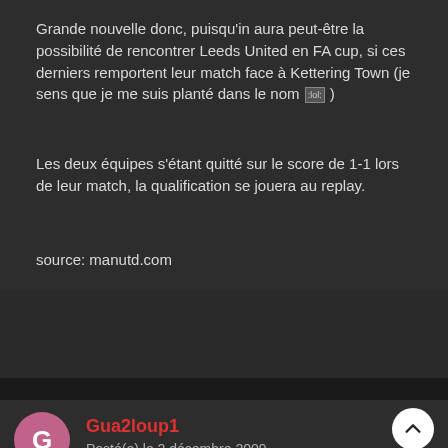Grande nouvelle donc, puisqu'in aura peut-être la possibilité de rencontrer Leeds United en FA cup, si ces derniers remportent leur match face à Kettering Town (je sens que je me suis planté dans le nom :lol: )
Les deux équipes s'étant quitté sur le score de 1-1 lors de leur match, la qualification se jouera au replay.
source: manutd.com
Gua2loup1
Posté(e) le 2 décembre 2009